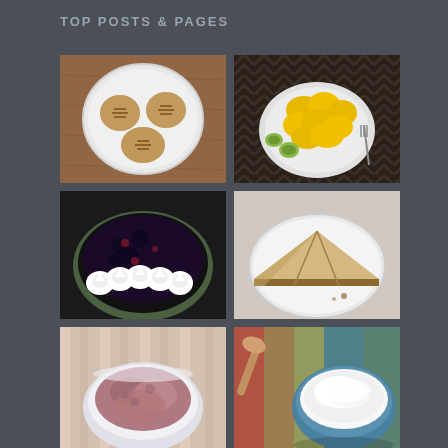TOP POSTS & PAGES
[Figure (photo): Overhead view of peanut butter cookies on a white scalloped plate on a wooden surface]
[Figure (photo): Yellow macaroni and cheese on a white plate on a chevron-patterned tablecloth with sliced zucchini]
[Figure (photo): Close-up of dark berry pie or cobbler topped with whipped cream rosettes in a green pie dish]
[Figure (photo): Slices of cheesecake or tart on a white plate viewed from above]
[Figure (photo): Bowl with pink or purple ground meat mixture on a striped cloth]
[Figure (photo): Wooden spoon and bowl of white flour or powder with blue rim on a colorful background]